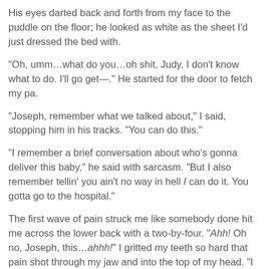His eyes darted back and forth from my face to the puddle on the floor; he looked as white as the sheet I'd just dressed the bed with.
“Oh, umm…what do you…oh shit, Judy, I don’t know what to do. I’ll go get—.” He started for the door to fetch my pa.
“Joseph, remember what we talked about,” I said, stopping him in his tracks. “You can do this.”
“I remember a brief conversation about who’s gonna deliver this baby,” he said with sarcasm. “But I also remember tellin’ you ain’t no way in hell I can do it. You gotta go to the hospital.”
The first wave of pain struck me like somebody done hit me across the lower back with a two-by-four. “Ahh! Oh no, Joseph, this…ahhh!” I gritted my teeth so hard that pain shot through my jaw and into the top of my head. “I can’t go to the hospital…please, you promised.”
“What?! I did no such thing!”